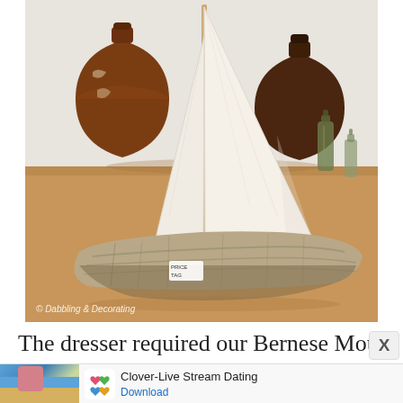[Figure (photo): A driftwood sailboat with white fabric sails displayed on a wooden floor, with brown ceramic jugs and bottles in the background. A price tag is visible on the driftwood base. Watermark reads '© Dabbling & Decorating'.]
The dresser required our Bernese Mountain Dog...
[Figure (other): Advertisement banner for 'Clover-Live Stream Dating' app with a beach photo of a woman, Clover app logo (clover leaf with hearts), and a Download button.]